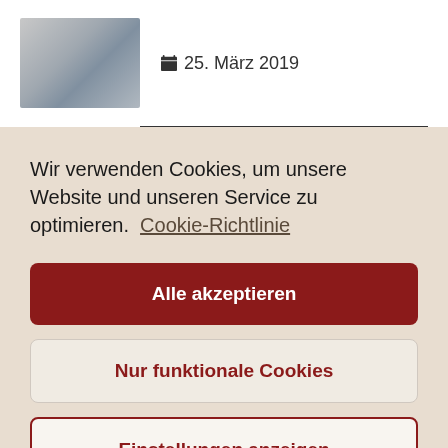[Figure (photo): Small thumbnail photo showing a blurred indoor scene, possibly a desk or office setting]
25. März 2019
Wir verwenden Cookies, um unsere Website und unseren Service zu optimieren.  Cookie-Richtlinie
Alle akzeptieren
Nur funktionale Cookies
Einstellungen anzeigen
consultation with you.